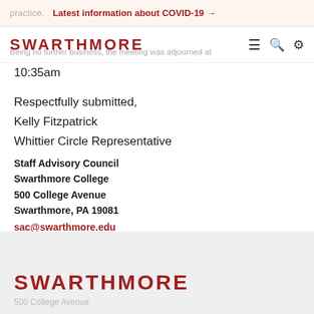practice.  Latest information about COVID-19 →
[Figure (logo): Swarthmore College logo/wordmark in red with navigation icons (hamburger menu, search, settings)]
Being no further business, the meeting was adjourned at 10:35am
Respectfully submitted,
Kelly Fitzpatrick
Whittier Circle Representative
Staff Advisory Council
Swarthmore College
500 College Avenue
Swarthmore, PA 19081
sac@swarthmore.edu
SWARTHMORE
500 College Avenue